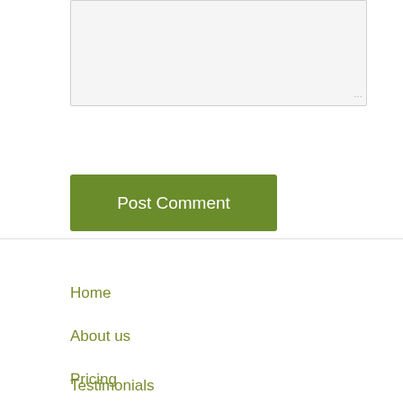[Figure (screenshot): A textarea input field with light gray background and resize handle in bottom right corner]
Post Comment
Home
About us
Pricing
Services
[Figure (logo): WhatsApp us button - green pill-shaped button with white text]
[Figure (logo): WhatsApp icon - green rounded square with white phone handset in speech bubble]
Testimonials